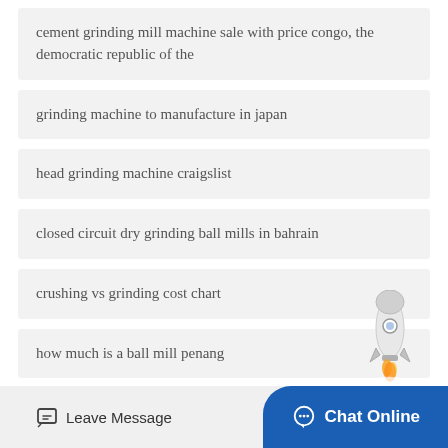cement grinding mill machine sale with price congo, the democratic republic of the
grinding machine to manufacture in japan
head grinding machine craigslist
closed circuit dry grinding ball mills in bahrain
crushing vs grinding cost chart
how much is a ball mill penang
Leave Message  Chat Online